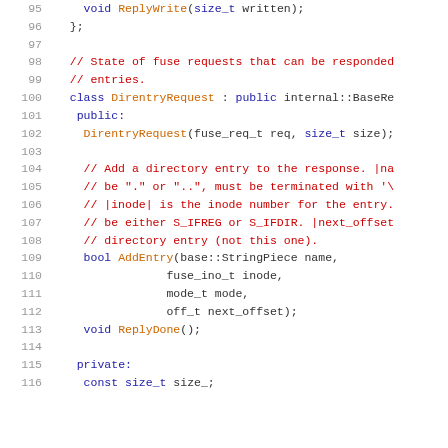Source code listing lines 95-116, C++ class DirentryRequest
96: };
97: 
98: // State of fuse requests that can be responded
99: // entries.
100: class DirentryRequest : public internal::BaseRe
101:  public:
102:   DirentryRequest(fuse_req_t req, size_t size);
103: 
104:   // Add a directory entry to the response. |na
105:   // be "." or "..", must be terminated with '\0'
106:   // |inode| is the inode number for the entry.
107:   // be either S_IFREG or S_IFDIR. |next_offset
108:   // directory entry (not this one).
109:   bool AddEntry(base::StringPiece name,
110:              fuse_ino_t inode,
111:              mode_t mode,
112:              off_t next_offset);
113:   void ReplyDone();
114: 
115:  private:
116:   const size_t size_;